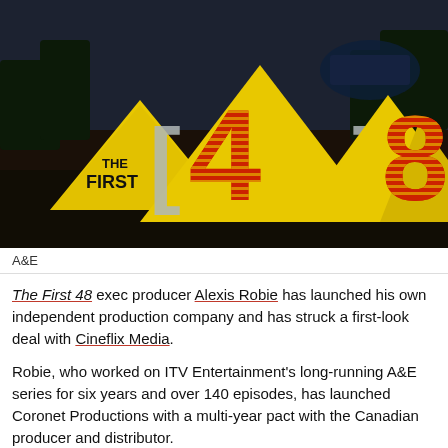[Figure (photo): Promotional image for TV show 'The First 48' — crime scene evidence markers (yellow tent cards) with bold red-and-yellow striped numbers '4' and '8' flanking '[ ]' brackets on a dark outdoor night scene background. Text 'THE FIRST' appears on the leftmost evidence marker.]
A&E
The First 48 exec producer Alexis Robie has launched his own independent production company and has struck a first-look deal with Cineflix Media.
Robie, who worked on ITV Entertainment's long-running A&E series for six years and over 140 episodes, has launched Coronet Productions with a multi-year pact with the Canadian producer and distributor.